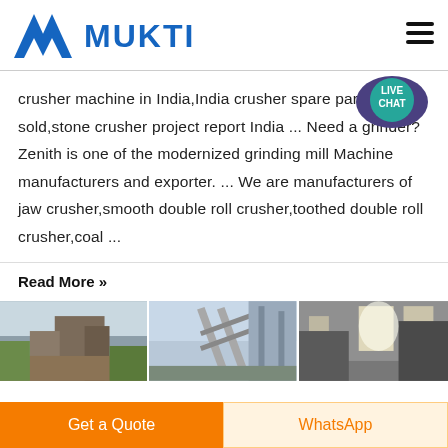[Figure (logo): MUKTI company logo with blue M-shaped triangle icon and blue bold text MUKTI]
crusher machine in India,India crusher spare parts sold,stone crusher project report India ... Need a grinder? Zenith is one of the modernized grinding mill Machine manufacturers and exporter. ... We are manufacturers of jaw crusher,smooth double roll crusher,toothed double roll crusher,coal ...
Read More »
[Figure (photo): Three industrial photos side by side showing mining/crushing equipment and machinery]
Get a Quote
WhatsApp